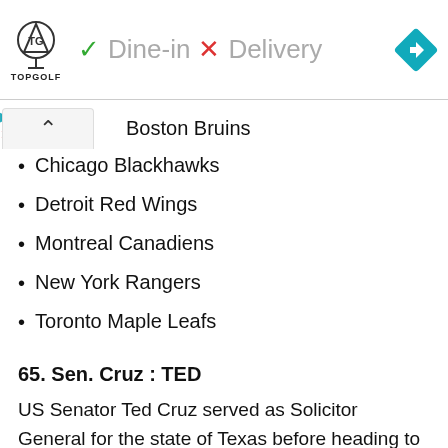[Figure (infographic): Topgolf logo with dine-in checkmark and delivery X mark, plus navigation diamond icon]
Boston Bruins
Chicago Blackhawks
Detroit Red Wings
Montreal Canadiens
New York Rangers
Toronto Maple Leafs
65. Sen. Cruz : TED
US Senator Ted Cruz served as Solicitor General for the state of Texas before heading to Washington. Cruz was appointed Solicitor General in 2003 at the age of 32, making him the youngest Solicitor General in the country. Famously, Cruz is an opponent of the